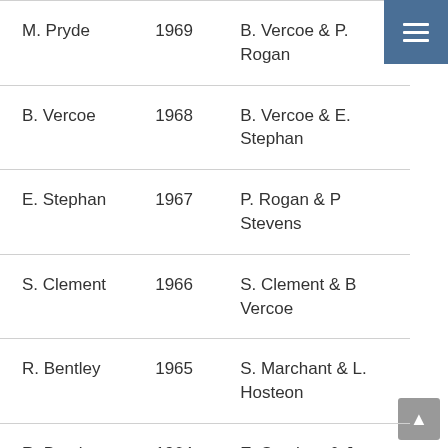| M. Pryde | 1969 | B. Vercoe & P. Rogan |
| B. Vercoe | 1968 | B. Vercoe & E. Stephan |
| E. Stephan | 1967 | P. Rogan & P Stevens |
| S. Clement | 1966 | S. Clement & B Vercoe |
| R. Bentley | 1965 | S. Marchant & L. Hosteon |
| R. Bentley | 1964 | E. Stephan & J. Tinnock |